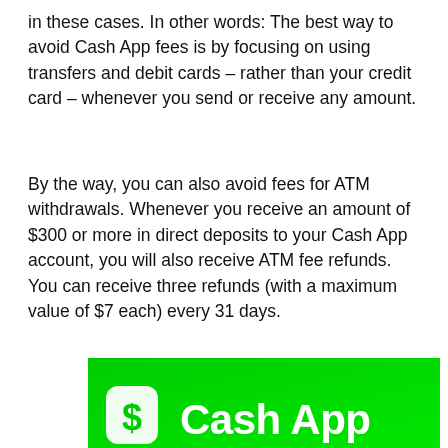in these cases. In other words: The best way to avoid Cash App fees is by focusing on using transfers and debit cards – rather than your credit card – whenever you send or receive any amount.
By the way, you can also avoid fees for ATM withdrawals. Whenever you receive an amount of $300 or more in direct deposits to your Cash App account, you will also receive ATM fee refunds. You can receive three refunds (with a maximum value of $7 each) every 31 days.
[Figure (photo): Cash App logo on a bright green background, showing the dollar sign icon and 'Cash App' text in white, partially cropped at the bottom of the page.]